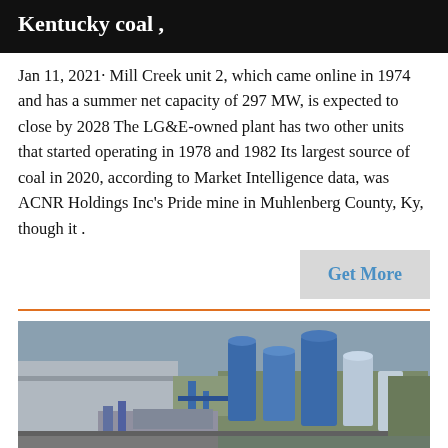Kentucky coal ,
Jan 11, 2021· Mill Creek unit 2, which came online in 1974 and has a summer net capacity of 297 MW, is expected to close by 2028 The LG&E-owned plant has two other units that started operating in 1978 and 1982 Its largest source of coal in 2020, according to Market Intelligence data, was ACNR Holdings Inc's Pride mine in Muhlenberg County, Ky, though it .
Get More
[Figure (photo): Aerial view of an industrial facility with blue silos and tanks, possibly a coal or energy processing plant, surrounded by trees and industrial structures.]